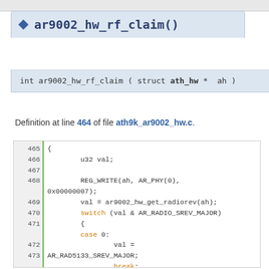ar9002_hw_rf_claim()
int ar9002_hw_rf_claim ( struct ath_hw * ah )
Definition at line 464 of file ath9k_ar9002_hw.c.
[Figure (screenshot): Code block showing lines 465-481 of ar9002_hw_rf_claim function implementation in C]